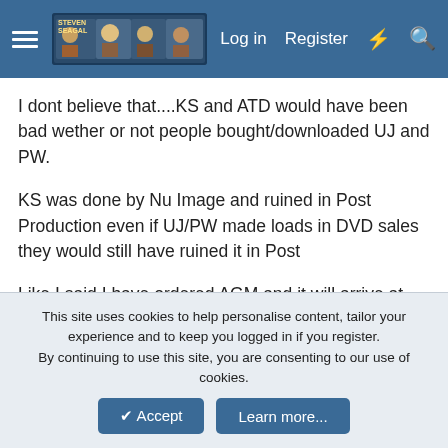Log in  Register
I dont believe that....KS and ATD would have been bad wether or not people bought/downloaded UJ and PW.
KS was done by Nu Image and ruined in Post Production even if UJ/PW made loads in DVD sales they would still have ruined it in Post
Like I said I have ordered AGM and it will arrive at the end of August and TBH I trust Waxman/Voltage more than previous people that Seagal has worked with and I will probably just buy Absolution without watching it online first.
kadence1
This site uses cookies to help personalise content, tailor your experience and to keep you logged in if you register.
By continuing to use this site, you are consenting to our use of cookies.